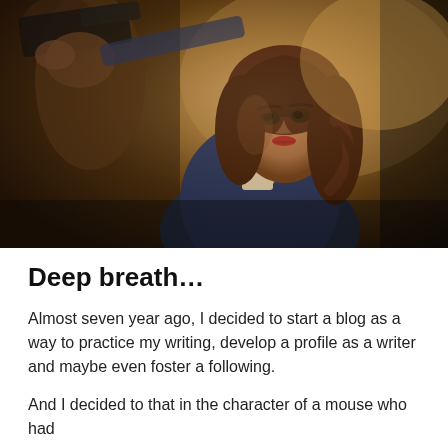[Figure (photo): A woman with auburn wavy hair in a dark blue outfit pointing a gun toward the camera/viewer. The scene is dimly lit with warm brown tones, cinematic style. A blurred figure is visible in the background on the left.]
Deep breath…
Almost seven year ago, I decided to start a blog as a way to practice my writing, develop a profile as a writer and maybe even foster a following.
And I decided to that in the character of a mouse who had